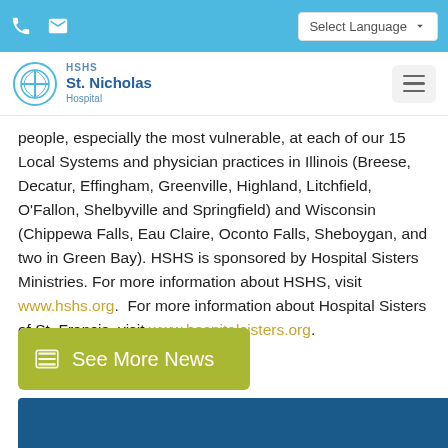HSHS St. Nicholas Hospital — Select Language
people, especially the most vulnerable, at each of our 15 Local Systems and physician practices in Illinois (Breese, Decatur, Effingham, Greenville, Highland, Litchfield, O'Fallon, Shelbyville and Springfield) and Wisconsin (Chippewa Falls, Eau Claire, Oconto Falls, Sheboygan, and two in Green Bay). HSHS is sponsored by Hospital Sisters Ministries. For more information about HSHS, visit www.hshs.org.  For more information about Hospital Sisters of St. Francis, visit www.hospitalsisters.org.
[Figure (other): See More News button with olive/yellow-green background]
[Figure (other): Blue banner at bottom of page]